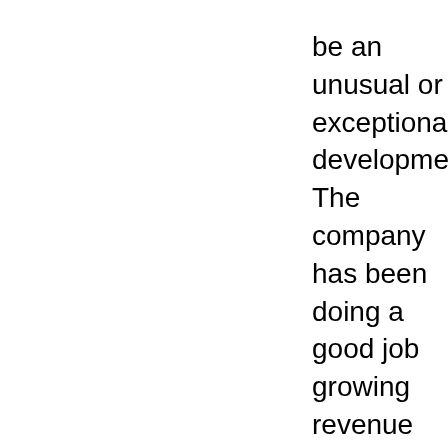be an unusual or exceptional development. The company has been doing a good job growing revenue and earnings, free cash flow, and maintaining a healthy balance sheet.
In terms of valuation, we can see from the Yahoo "Key...